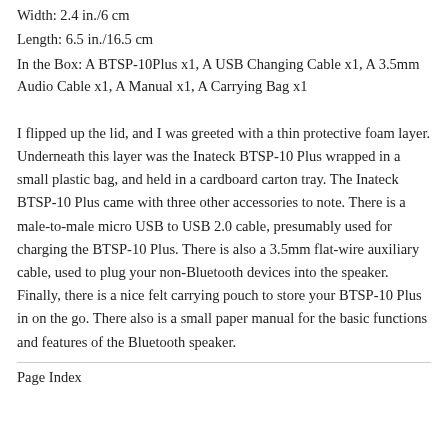Width: 2.4 in./6 cm
Length: 6.5 in./16.5 cm
In the Box: A BTSP-10Plus x1, A USB Changing Cable x1, A 3.5mm Audio Cable x1, A Manual x1, A Carrying Bag x1
I flipped up the lid, and I was greeted with a thin protective foam layer. Underneath this layer was the Inateck BTSP-10 Plus wrapped in a small plastic bag, and held in a cardboard carton tray. The Inateck BTSP-10 Plus came with three other accessories to note. There is a male-to-male micro USB to USB 2.0 cable, presumably used for charging the BTSP-10 Plus. There is also a 3.5mm flat-wire auxiliary cable, used to plug your non-Bluetooth devices into the speaker. Finally, there is a nice felt carrying pouch to store your BTSP-10 Plus in on the go. There also is a small paper manual for the basic functions and features of the Bluetooth speaker.
Page Index